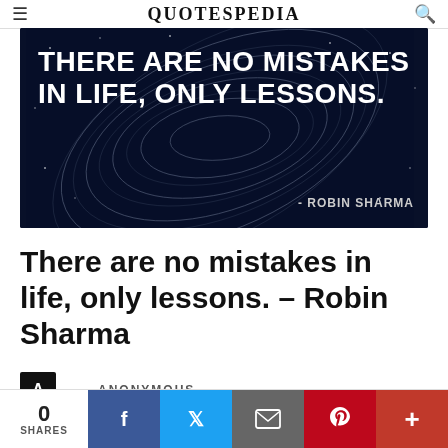QUOTESPEDIA
[Figure (illustration): Dark navy blue background with star trail swirl pattern. White bold text reads: THERE ARE NO MISTAKES IN LIFE, ONLY LESSONS. Attribution: - ROBIN SHARMA]
There are no mistakes in life, only lessons. – Robin Sharma
A — ANONYMOUS
0 SHARES | Facebook | Twitter | Email | Pinterest | Plus